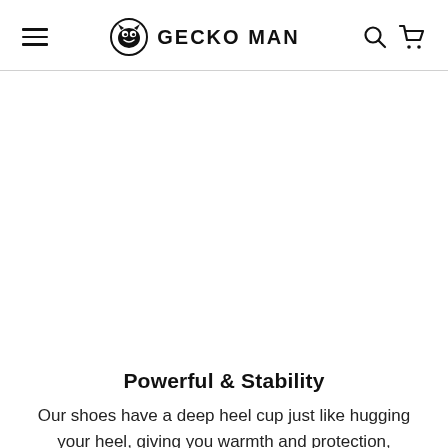GECKO MAN
[Figure (photo): Large blank/white product image area in the center of the page]
Powerful & Stability
Our shoes have a deep heel cup just like hugging your heel, giving you warmth and protection, keeping your